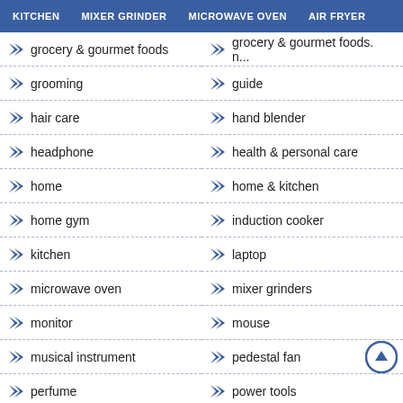KITCHEN   MIXER GRINDER   MICROWAVE OVEN   AIR FRYER
grocery & gourmet foods
grocery & gourmet foods. n...
grooming
guide
hair care
hand blender
headphone
health & personal care
home
home & kitchen
home gym
induction cooker
kitchen
laptop
microwave oven
mixer grinders
monitor
mouse
musical instrument
pedestal fan
perfume
power tools